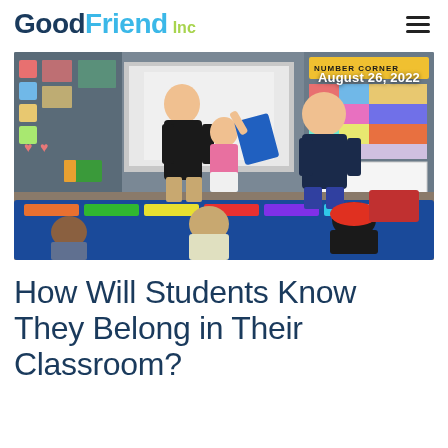Good Friend Inc
[Figure (photo): Classroom scene with two adults and several children. One adult in black sweater helps a girl in a pink floral outfit who is holding a blue item, while another adult in a dark t-shirt stands in the background. Students are seated on a colorful rug. Date overlay reads August 26, 2022.]
How Will Students Know They Belong in Their Classroom?